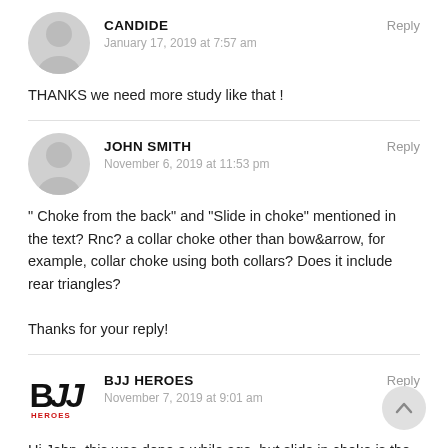CANDIDE
January 17, 2019 at 7:57 am
Reply
THANKS we need more study like that !
JOHN SMITH
November 6, 2019 at 11:53 pm
Reply
" Choke from the back" and “Slide in choke” mentioned in the text? Rnc? a collar choke other than bow&arrow, for example, collar choke using both collars? Does it include rear triangles?
Thanks for your reply!
BJJ HEROES
November 7, 2019 at 9:01 am
Reply
Hi John, this was done a while ago, but slide in choke is the same as the double collar one and it would not include rear triangles.